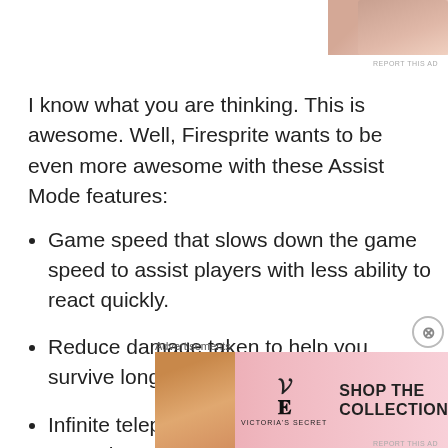[Figure (photo): Partial photo of a person at top right corner, advertisement image]
REPORT THIS AD
I know what you are thinking. This is awesome. Well, Firesprite wants to be even more awesome with these Assist Mode features:
Game speed that slows down the game speed to assist players with less ability to react quickly.
Reduce damage taken to help you survive longer.
Infinite teleportation so you can get around
Advertisements
[Figure (photo): Victoria's Secret advertisement banner with model, VS logo, SHOP THE COLLECTION text and SHOP NOW button]